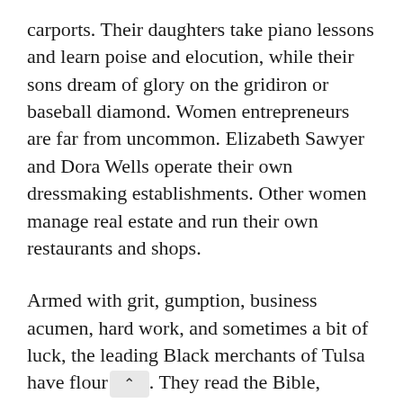carports. Their daughters take piano lessons and learn poise and elocution, while their sons dream of glory on the gridiron or baseball diamond. Women entrepreneurs are far from uncommon. Elizabeth Sawyer and Dora Wells operate their own dressmaking establishments. Other women manage real estate and run their own restaurants and shops.
Armed with grit, gumption, business acumen, hard work, and sometimes a bit of luck, the leading Black merchants of Tulsa have floun [scroll indicator]. They read the Bible, newspapers, and novels [obscured] to church on Sunday, and dress for dinner. The white bankers downtown know who they are, as do the shipping clerks and freight agents at the railway terminals. And while the overwhelming majority of African Americans in Tulsa live far